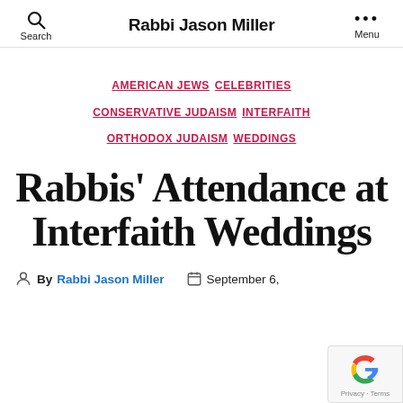Rabbi Jason Miller
AMERICAN JEWS  CELEBRITIES  CONSERVATIVE JUDAISM  INTERFAITH  ORTHODOX JUDAISM  WEDDINGS
Rabbis' Attendance at Interfaith Weddings
By Rabbi Jason Miller  September 6,